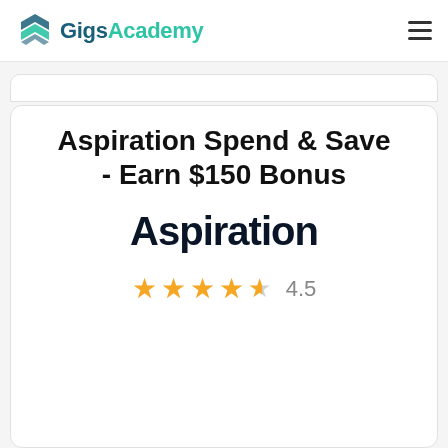Gigs Academy
Aspiration Spend & Save - Earn $150 Bonus
[Figure (logo): Aspiration brand logo in dark navy text]
4.5 stars rating